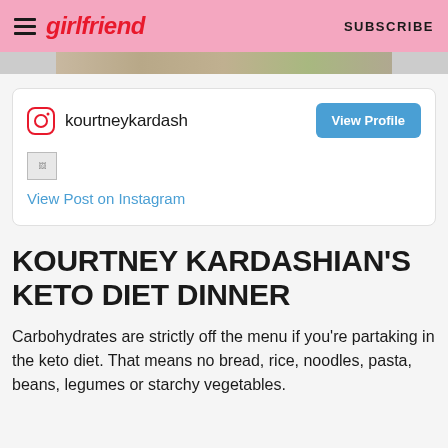girlfriend   SUBSCRIBE
[Figure (photo): Partial image strip at top of content area]
[Figure (screenshot): Instagram embed card showing kourtneykardash account with View Profile button, broken image placeholder, and View Post on Instagram link]
KOURTNEY KARDASHIAN'S KETO DIET DINNER
Carbohydrates are strictly off the menu if you're partaking in the keto diet. That means no bread, rice, noodles, pasta, beans, legumes or starchy vegetables.